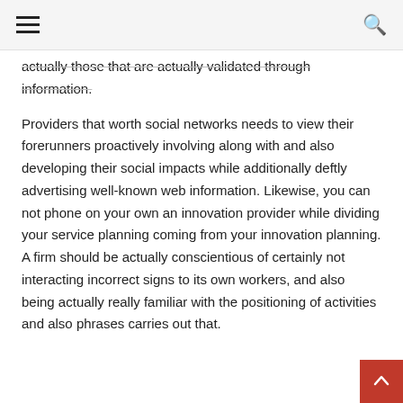[hamburger menu icon] [search icon]
actually those that are actually validated through information.
Providers that worth social networks needs to view their forerunners proactively involving along with and also developing their social impacts while additionally deftly advertising well-known web information. Likewise, you can not phone on your own an innovation provider while dividing your service planning coming from your innovation planning. A firm should be actually conscientious of certainly not interacting incorrect signs to its own workers, and also being actually really familiar with the positioning of activities and also phrases carries out that.